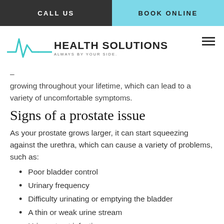CALL US | BOOK ONLINE
[Figure (logo): Health Solutions logo with heartbeat/ECG line graphic in teal and text 'HEALTH SOLUTIONS - ALWAYS BY YOUR SIDE.']
– growing throughout your lifetime, which can lead to a variety of uncomfortable symptoms.
Signs of a prostate issue
As your prostate grows larger, it can start squeezing against the urethra, which can cause a variety of problems, such as:
Poor bladder control
Urinary frequency
Difficulty urinating or emptying the bladder
A thin or weak urine stream
Urinary tract infections